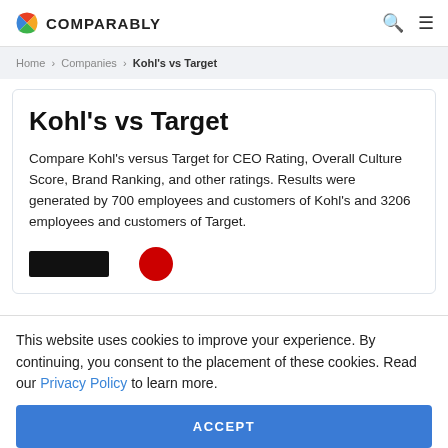COMPARABLY
Home › Companies › Kohl's vs Target
Kohl's vs Target
Compare Kohl's versus Target for CEO Rating, Overall Culture Score, Brand Ranking, and other ratings. Results were generated by 700 employees and customers of Kohl's and 3206 employees and customers of Target.
This website uses cookies to improve your experience. By continuing, you consent to the placement of these cookies. Read our Privacy Policy to learn more.
ACCEPT